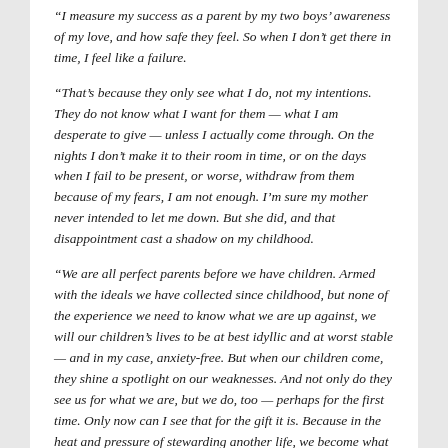“I measure my success as a parent by my two boys’ awareness of my love, and how safe they feel. So when I don’t get there in time, I feel like a failure.
“That’s because they only see what I do, not my intentions. They do not know what I want for them — what I am desperate to give — unless I actually come through. On the nights I don’t make it to their room in time, or on the days when I fail to be present, or worse, withdraw from them because of my fears, I am not enough. I’m sure my mother never intended to let me down. But she did, and that disappointment cast a shadow on my childhood.
“We are all perfect parents before we have children. Armed with the ideals we have collected since childhood, but none of the experience we need to know what we are up against, we will our children’s lives to be at best idyllic and at worst stable — and in my case, anxiety-free. But when our children come, they shine a spotlight on our weaknesses. And not only do they see us for what we are, but we do, too — perhaps for the first time. Only now can I see that for the gift it is. Because in the heat and pressure of stewarding another life, we become what we want to be